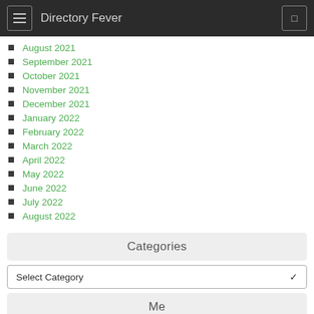Directory Fever
August 2021
September 2021
October 2021
November 2021
December 2021
January 2022
February 2022
March 2022
April 2022
May 2022
June 2022
July 2022
August 2022
Categories
Select Category
Meta